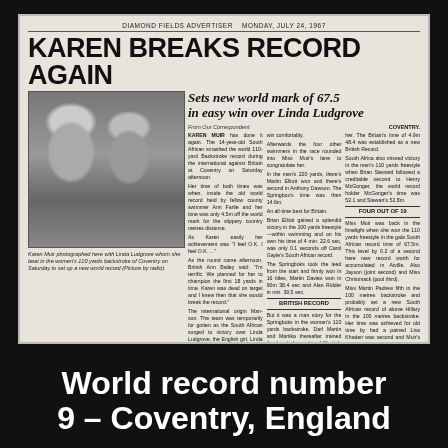[Figure (photo): Newspaper clipping from Diamond Fields Advertiser, Monday July 24 1967, showing Karen Muir with Linda Ludgrove, with headline about breaking world record]
KAREN BREAKS RECORD AGAIN
Sets new world mark of 67.5 in easy win over Linda Ludgrove
KAREN MUIR has done it again. The 14-year-old South African smashed the world 110-yard Backstroke record during the international against Britain at Coventry on Saturday afternoon.
Karen Muir photographed here with Linda Ludgrove whom she beat in the women's 110 yards backstroke of Coventry on Saturday to set up a new world record (Picture by radio).
World record number 9 – Coventry, England